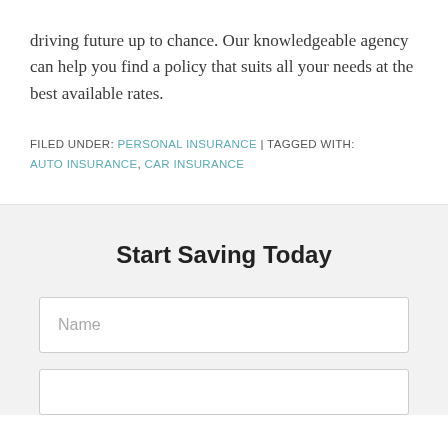driving future up to chance. Our knowledgeable agency can help you find a policy that suits all your needs at the best available rates.
FILED UNDER: PERSONAL INSURANCE | TAGGED WITH: AUTO INSURANCE, CAR INSURANCE
Start Saving Today
Name